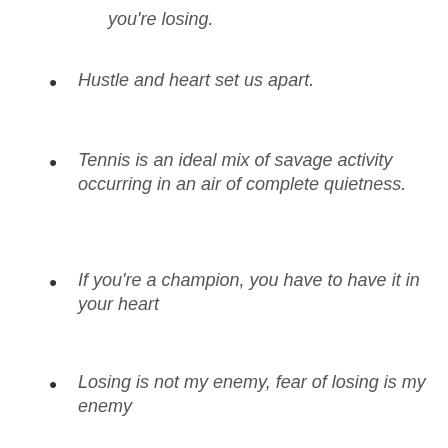you're losing.
Hustle and heart set us apart.
Tennis is an ideal mix of savage activity occurring in an air of complete quietness.
If you're a champion, you have to have it in your heart
Losing is not my enemy, fear of losing is my enemy